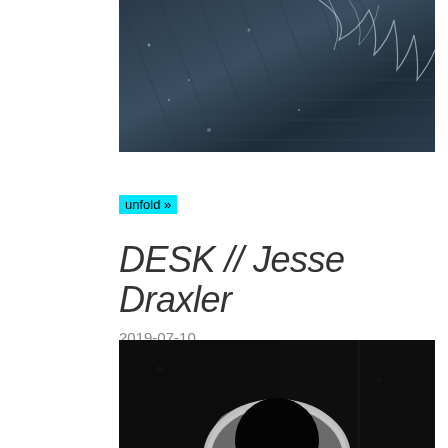[Figure (photo): Close-up photo of dark denim fabric with fringe or frayed edge detail, showing texture of the material in dark blue/grey tones]
unfold »
DESK // Jesse Draxler
2019-07-10
[Figure (photo): Dark black artwork or photograph showing a circular/crescent white shape against a very dark black textured background, resembling an eclipse or abstract art piece]